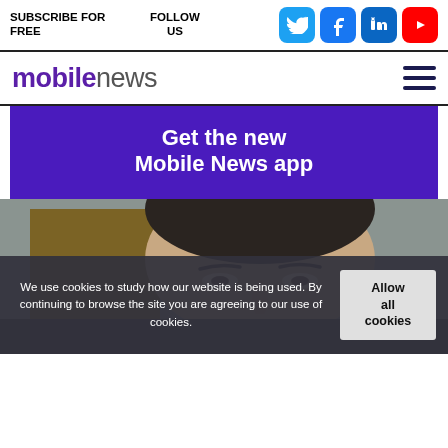SUBSCRIBE FOR FREE   FOLLOW US
mobilenews
[Figure (illustration): Get the new Mobile News app promotional banner with white bold text on purple background]
[Figure (photo): Close-up photo of a man's face, dark hair, looking forward, blurred background]
We use cookies to study how our website is being used. By continuing to browse the site you are agreeing to our use of cookies.